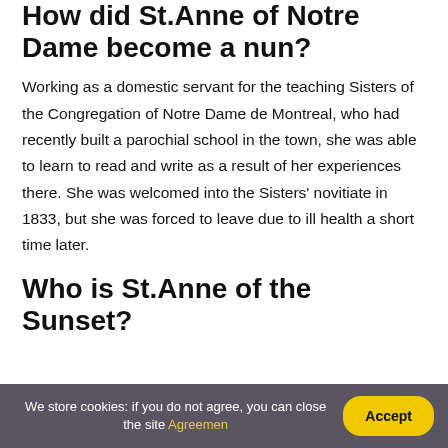How did St.Anne of Notre Dame become a nun?
Working as a domestic servant for the teaching Sisters of the Congregation of Notre Dame de Montreal, who had recently built a parochial school in the town, she was able to learn to read and write as a result of her experiences there. She was welcomed into the Sisters' novitiate in 1833, but she was forced to leave due to ill health a short time later.
Who is St.Anne of the Sunset?
We store cookies: if you do not agree, you can close the site Agreemen